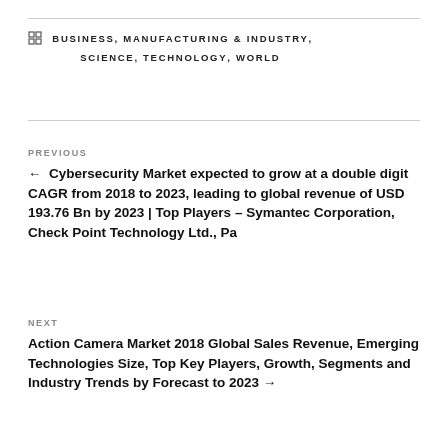BUSINESS, MANUFACTURING & INDUSTRY, SCIENCE, TECHNOLOGY, WORLD
PREVIOUS
← Cybersecurity Market expected to grow at a double digit CAGR from 2018 to 2023, leading to global revenue of USD 193.76 Bn by 2023 | Top Players – Symantec Corporation, Check Point Technology Ltd., Pa
NEXT
Action Camera Market 2018 Global Sales Revenue, Emerging Technologies Size, Top Key Players, Growth, Segments and Industry Trends by Forecast to 2023 →